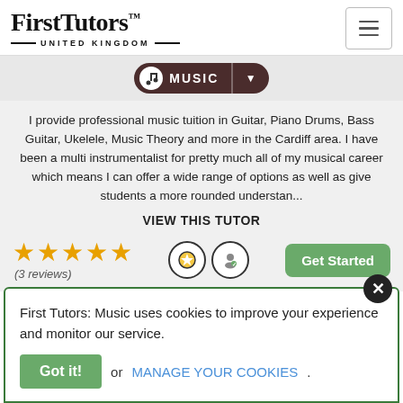[Figure (logo): FirstTutors United Kingdom logo with hamburger menu icon]
MUSIC
I provide professional music tuition in Guitar, Piano Drums, Bass Guitar, Ukelele, Music Theory and more in the Cardiff area. I have been a multi instrumentalist for pretty much all of my musical career which means I can offer a wide range of options as well as give students a more rounded understan...
VIEW THIS TUTOR
★★★★★ (3 reviews)
Get Started
First Tutors: Music uses cookies to improve your experience and monitor our service.
Got it! or MANAGE YOUR COOKIES.